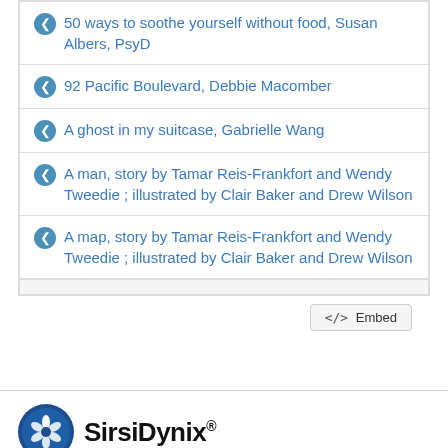50 ways to soothe yourself without food, Susan Albers, PsyD
92 Pacific Boulevard, Debbie Macomber
A ghost in my suitcase, Gabrielle Wang
A man, story by Tamar Reis-Frankfort and Wendy Tweedie ; illustrated by Clair Baker and Drew Wilson
A map, story by Tamar Reis-Frankfort and Wendy Tweedie ; illustrated by Clair Baker and Drew Wilson
[Figure (logo): SirsiDynix logo with circular blue emblem and bold SirsiDynix text with registered trademark symbol]
Structured data from the Bibframe namespace is licensed under the